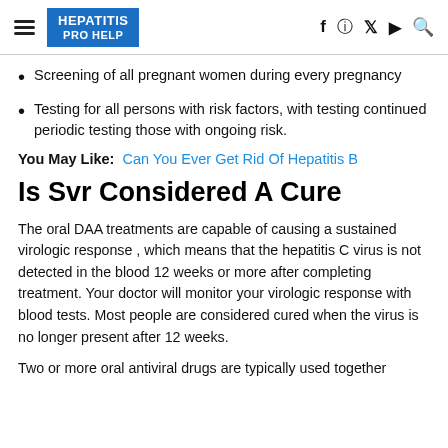HEPATITIS PRO HELP
Screening of all pregnant women during every pregnancy
Testing for all persons with risk factors, with testing continued periodic testing those with ongoing risk.
You May Like: Can You Ever Get Rid Of Hepatitis B
Is Svr Considered A Cure
The oral DAA treatments are capable of causing a sustained virologic response , which means that the hepatitis C virus is not detected in the blood 12 weeks or more after completing treatment. Your doctor will monitor your virologic response with blood tests. Most people are considered cured when the virus is no longer present after 12 weeks.
Two or more oral antiviral drugs are typically used together